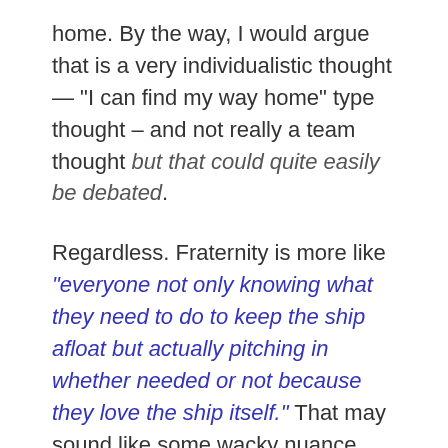home. By the way, I would argue that is a very individualistic thought — "I can find my way home" type thought – and not really a team thought <but that could quite easily be debated>.
Regardless. Fraternity is more like "everyone not only knowing what they need to do to keep the ship afloat but actually pitching in whether needed or not because they love the ship itself." That may sound like some wacky nuance, but I have to warn people that revolutions can kind of gain some momentum off of some